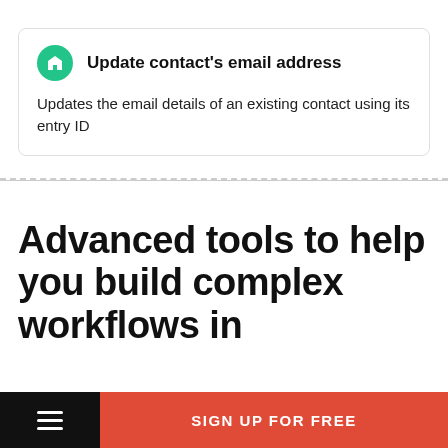Update contact's email address
Updates the email details of an existing contact using its entry ID
Advanced tools to help you build complex workflows in
SIGN UP FOR FREE